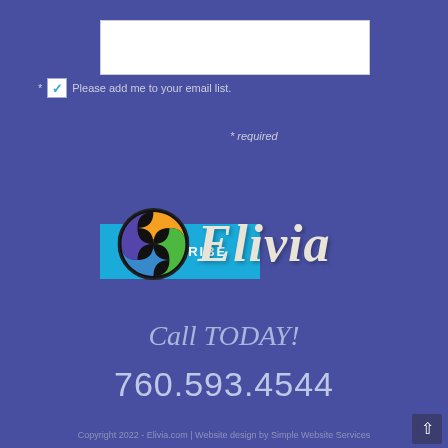[Figure (screenshot): Email input text field (white box)]
* Please add me to your email list.
[Figure (screenshot): Subscribe button (blue) and '* required' label]
[Figure (logo): Elivia logo with colorful yin-yang style circular icon and 'Elivia' text in stylized serif font]
Call TODAY!
760.593.4544
Copyright 2022 - Elivia.com | Website design by Simple Website Services